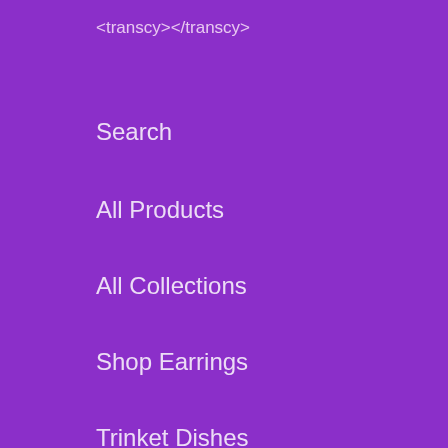<transcy></transcy>
Search
All Products
All Collections
Shop Earrings
Trinket Dishes
Mask + Headband Set
<transcy></transcy>